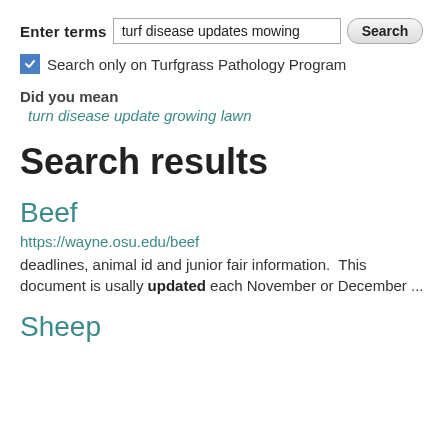Enter terms  turf disease updates mowing  Search
Search only on Turfgrass Pathology Program
Did you mean
turn disease update growing lawn
Search results
Beef
https://wayne.osu.edu/beef
deadlines, animal id and junior fair information.  This document is usally updated each November or December ...
Sheep